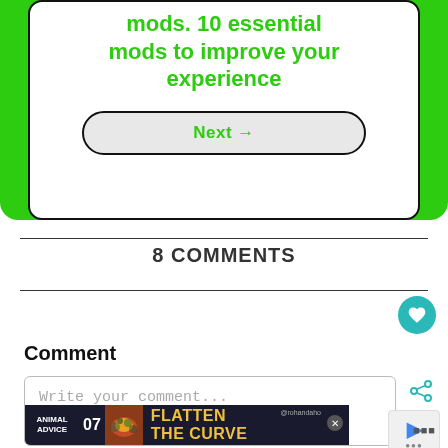mods. 10 essential mods to improve your experience
[Figure (screenshot): Next button with arrow in a rounded rectangle button, light gray background, green text 'Next →' with black border]
8 COMMENTS
Comment
Write your comment...
[Figure (screenshot): Advertisement banner: Animal Advice 07 FLATTEN THE CURVE @rohandaho with close button]